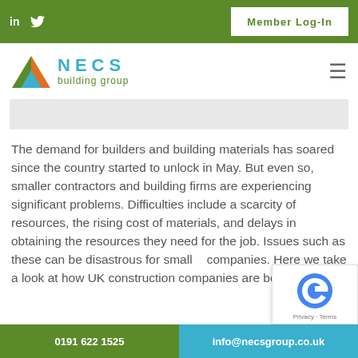in  [twitter icon]  Member Log-In
[Figure (logo): NECS building group logo with triangular icon in orange, green, and blue, followed by NECS in blue letters and 'building group' in green]
The demand for builders and building materials has soared since the country started to unlock in May. But even so, smaller contractors and building firms are experiencing significant problems. Difficulties include a scarcity of resources, the rising cost of materials, and delays in obtaining the resources they need for the job. Issues such as these can be disastrous for smaller companies. Here we take a look at how UK construction companies are being affected
0191 622 1525    info@necsgroup.co.uk